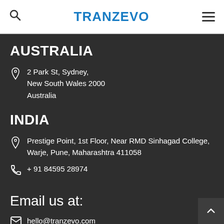TRANZEVO
AUSTRALIA
2 Park St, Sydney,
New South Wales 2000
Australia
INDIA
Prestige Point, 1st Floor, Near RMD Sinhagad College, Warje, Pune, Maharashtra 411058
+ 91 84595 28974
Email us at:
hello@tranzevo.com